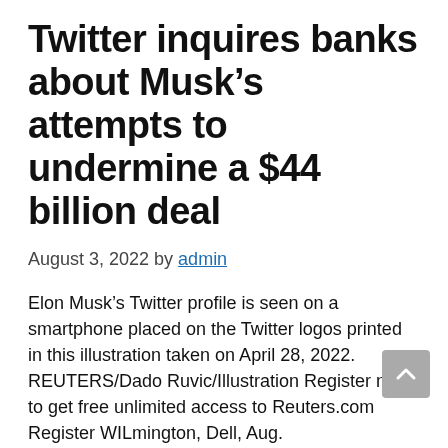Twitter inquires banks about Musk's attempts to undermine a $44 billion deal
August 3, 2022 by admin
Elon Musk's Twitter profile is seen on a smartphone placed on the Twitter logos printed in this illustration taken on April 28, 2022. REUTERS/Dado Ruvic/Illustration Register now to get free unlimited access to Reuters.com Register WILmington, Dell, Aug.